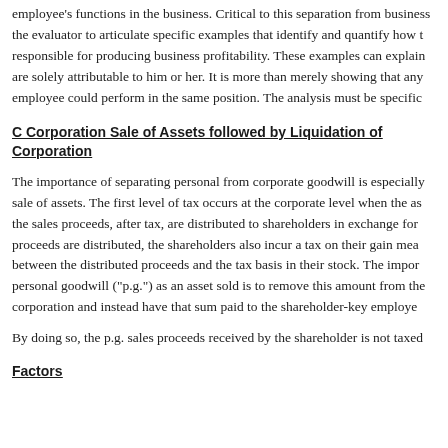employee's functions in the business. Critical to this separation from business, the evaluator to articulate specific examples that identify and quantify how responsible for producing business profitability. These examples can explain are solely attributable to him or her. It is more than merely showing that any employee could perform in the same position. The analysis must be specific
C Corporation Sale of Assets followed by Liquidation of Corporation
The importance of separating personal from corporate goodwill is especially sale of assets. The first level of tax occurs at the corporate level when the assets the sales proceeds, after tax, are distributed to shareholders in exchange for proceeds are distributed, the shareholders also incur a tax on their gain measured between the distributed proceeds and the tax basis in their stock. The importance of personal goodwill ("p.g.") as an asset sold is to remove this amount from the corporation and instead have that sum paid to the shareholder-key employee
By doing so, the p.g. sales proceeds received by the shareholder is not taxed
Factors